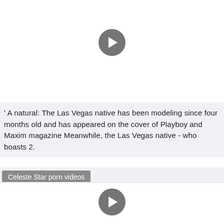[Figure (other): Video player placeholder with gray play button circle at top]
' A natural: The Las Vegas native has been modeling since four months old and has appeared on the cover of Playboy and Maxim magazine Meanwhile, the Las Vegas native - who boasts 2.
Celeste Star porn videos
[Figure (other): Video player placeholder with gray play button circle at bottom]